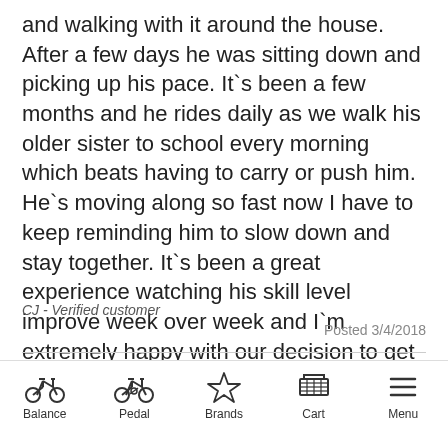and walking with it around the house. After a few days he was sitting down and picking up his pace. It`s been a few months and he rides daily as we walk his older sister to school every morning which beats having to carry or push him. He`s moving along so fast now I have to keep reminding him to slow down and stay together. It`s been a great experience watching his skill level improve week over week and I`m extremely happy with our decision to get a bike over some of the other alternatives.
CJ - Verified customer
Posted 3/4/2018
[Figure (other): Five gold stars rating]
[Figure (other): Navigation bar with Balance, Pedal, Brands, Cart, Menu icons]